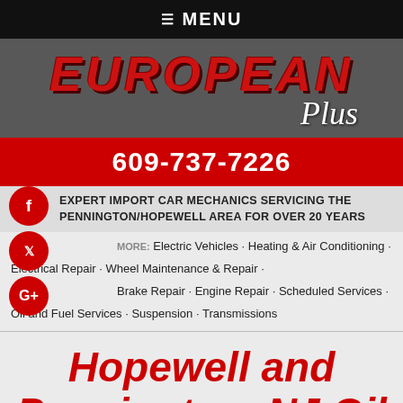≡ MENU
[Figure (logo): European Plus logo with red italic EUROPEAN text and white cursive Plus on dark gray background]
609-737-7226
EXPERT IMPORT CAR MECHANICS SERVICING THE PENNINGTON/HOPEWELL AREA FOR OVER 20 YEARS
MORE: Electric Vehicles · Heating & Air Conditioning · Electrical Repair · Wheel Maintenance & Repair · Brake Repair · Engine Repair · Scheduled Services · Oil and Fuel Services · Suspension · Transmissions
Hopewell and Pennington, NJ Oil and